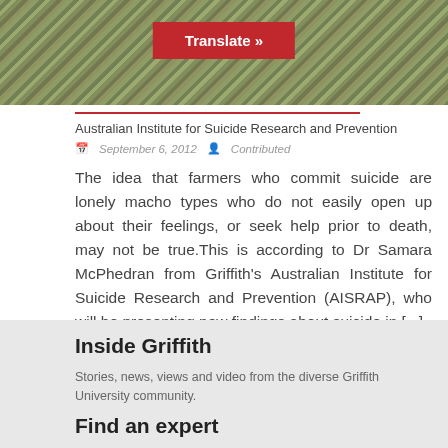[Figure (photo): Photograph of grassy/bushy terrain background with a red Translate button overlay]
Australian Institute for Suicide Research and Prevention
September 6, 2012   Contributed
The idea that farmers who commit suicide are lonely macho types who do not easily open up about their feelings, or seek help prior to death, may not be true.This is according to Dr Samara McPhedran from Griffith's Australian Institute for Suicide Research and Prevention (AISRAP), who will be presenting new findings about suicide in [...]
Inside Griffith
Stories, news, views and video from the diverse Griffith University community.
Find an expert